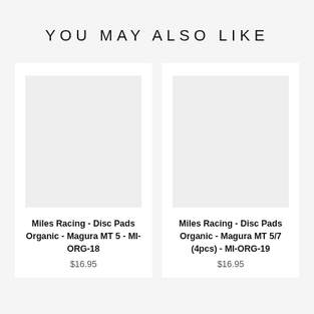YOU MAY ALSO LIKE
[Figure (photo): Product image placeholder for Miles Racing Disc Pads Organic Magura MT 5 MI-ORG-18 (blank/white placeholder image)]
Miles Racing - Disc Pads Organic - Magura MT 5 - MI-ORG-18
$16.95
[Figure (photo): Product image placeholder for Miles Racing Disc Pads Organic Magura MT 5/7 (4pcs) MI-ORG-19 (blank/white placeholder image)]
Miles Racing - Disc Pads Organic - Magura MT 5/7 (4pcs) - MI-ORG-19
$16.95